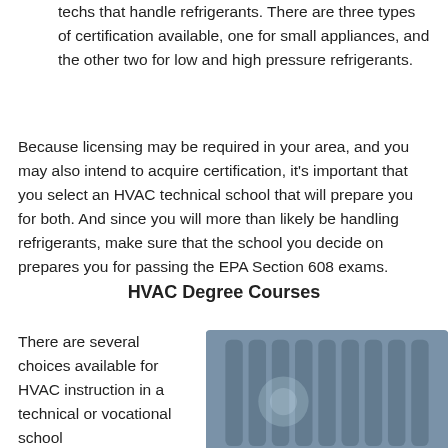techs that handle refrigerants. There are three types of certification available, one for small appliances, and the other two for low and high pressure refrigerants.
Because licensing may be required in your area, and you may also intend to acquire certification, it's important that you select an HVAC technical school that will prepare you for both. And since you will more than likely be handling refrigerants, make sure that the school you decide on prepares you for passing the EPA Section 608 exams.
HVAC Degree Courses
There are several choices available for HVAC instruction in a technical or vocational school
[Figure (photo): Photo of HVAC radiator fins, stacked metal plates in a blue-grey tone]